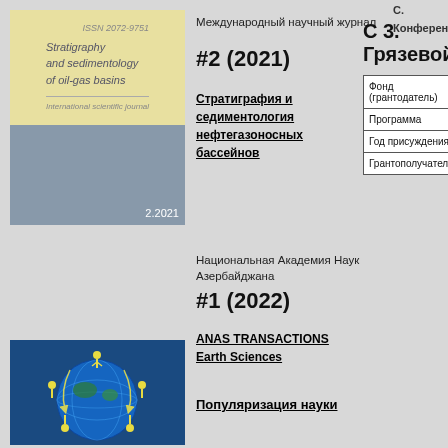[Figure (illustration): Book cover: Stratigraphy and sedimentology of oil-gas basins, issue 2.2021, with yellow-beige top half and blue-gray bottom half]
Международный научный журнал
#2 (2021)
Стратиграфия и седиментология нефтегазоносных бассейнов
Национальная Академия Наук Азербайджана
#1 (2022)
ANAS TRANSACTIONS Earth Sciences
[Figure (illustration): Globe illustration with yellow figures and blue/dark background]
Популяризация науки
С. Конференци...
С 3. Грязевой
| Фонд (грантодатель) |
| Программа |
| Год присуждения |
| Грантополучатель |